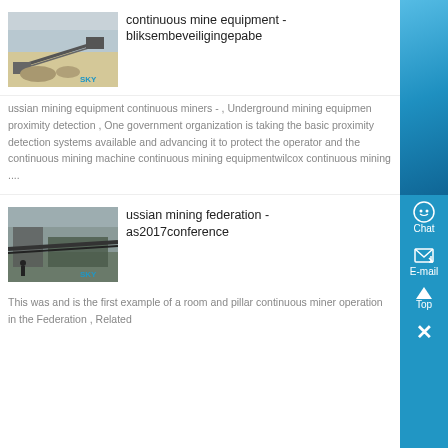[Figure (photo): Mining equipment with conveyor belt, SKY logo watermark, sandy/dusty outdoor setting]
continuous mine equipment - bliksembeveiligingepabe
ussian mining equipment continuous miners - , Underground mining equipment proximity detection , One government organization is taking the basic proximity detection systems available and advancing it to protect the operator and the continuous mining machine continuous mining equipmentwilcox continuous mining ....
[Figure (photo): Mining facility with industrial conveyors and structures, SKY logo watermark]
ussian mining federation - as2017conference
This was and is the first example of a room and pillar continuous miner operation in the Federation , Related